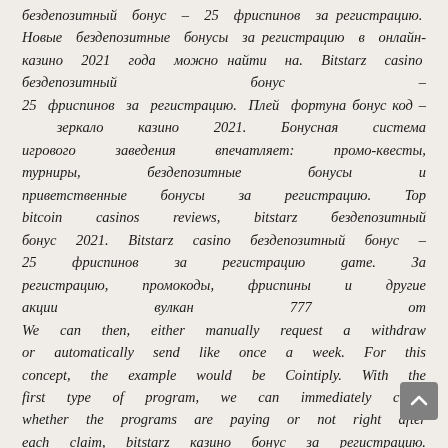бездепозитный бонус – 25 фриспинов за регистрацию. Новые бездепозитные бонусы за регистрацию в онлайн-казино 2021 года можно найти на. Bitstarz casino бездепозитный бонус – 25 фриспинов за регистрацию. Плей фортуна бонус код – зеркало казино 2021. Бонусная система игрового заведения впечатляет: промо-квесты, турниры, бездепозитные бонусы и приветственные бонусы за регистрацию. Top bitcoin casinos reviews, bitstarz бездепозитный бонус 2021. Bitstarz casino бездепозитный бонус – 25 фриспинов за регистрацию game. За регистрацию, промокоды, фриспины и другие акции вулкан 777 от We can then, either manually request a withdraw or automatically send like once a week. For this concept, the example would be Cointiply. With the first type of program, we can immediately check whether the programs are paying or not right after each claim, bitstarz казино бонус за регистрацию. We can check our FaucetHub. On the other hand, if somehow there is a problem with FaucetHub, Bitstarz para yatırma bonusu yok codes for